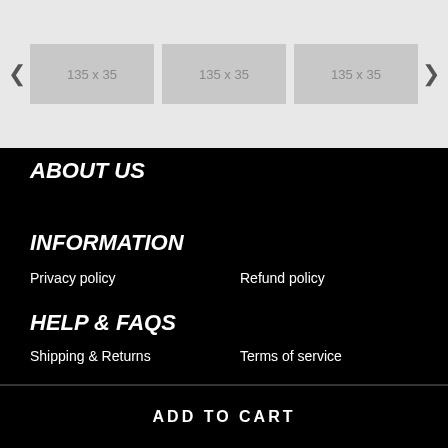[Figure (screenshot): Image carousel with three placeholder image slots (135x35), left and right navigation arrows, on a light grey background]
ABOUT US
INFORMATION
Privacy policy
Refund policy
HELP & FAQS
Shipping & Returns
Terms of service
ADD TO CART